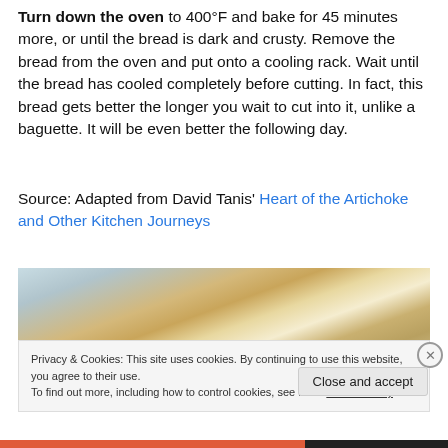Turn down the oven to 400°F and bake for 45 minutes more, or until the bread is dark and crusty.  Remove the bread from the oven and put onto a cooling rack.  Wait until the bread has cooled completely before cutting.  In fact, this bread gets better the longer you wait to cut into it, unlike a baguette.  It will be even better the following day.
Source:  Adapted from David Tanis' Heart of the Artichoke and Other Kitchen Journeys
[Figure (photo): Close-up photo of a rustic artisan bread loaf with a floury, crusty surface showing golden-brown scoring marks]
Privacy & Cookies: This site uses cookies. By continuing to use this website, you agree to their use.
To find out more, including how to control cookies, see here: Cookie Policy
Close and accept